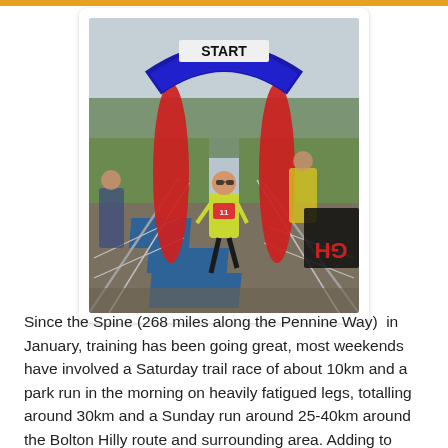[Figure (photo): A runner wearing a yellow/green vest crosses under a red and blue inflatable START arch at an outdoor trail race. Metal crowd-control barriers line a path of blue mats on muddy grass. Other participants and a race banner visible in the background. Overcast winter sky.]
Since the Spine (268 miles along the Pennine Way)  in January, training has been going great, most weekends have involved a Saturday trail race of about 10km and a park run in the morning on heavily fatigued legs, totalling around 30km and a Sunday run around 25-40km around the Bolton Hilly route and surrounding area. Adding to